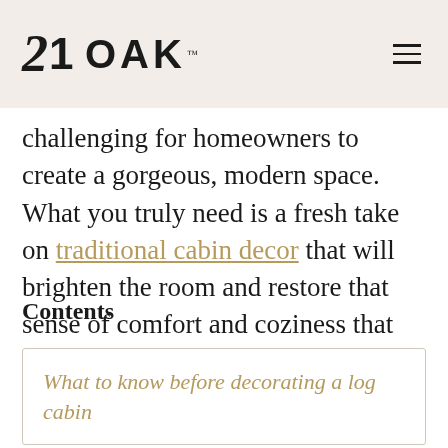21 OAK
challenging for homeowners to create a gorgeous, modern space. What you truly need is a fresh take on traditional cabin decor that will brighten the room and restore that sense of comfort and coziness that you adore.
Contents
What to know before decorating a log cabin